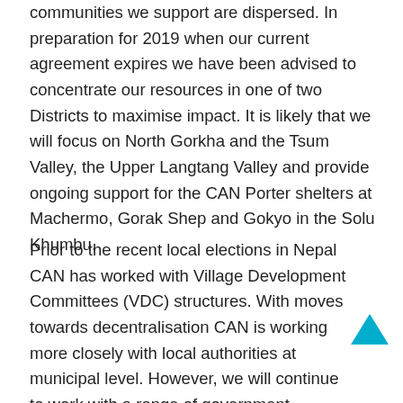communities we support are dispersed. In preparation for 2019 when our current agreement expires we have been advised to concentrate our resources in one of two Districts to maximise impact. It is likely that we will focus on North Gorkha and the Tsum Valley, the Upper Langtang Valley and provide ongoing support for the CAN Porter shelters at Machermo, Gorak Shep and Gokyo in the Solu Khumbu.
Prior to the recent local elections in Nepal CAN has worked with Village Development Committees (VDC) structures. With moves towards decentralisation CAN is working more closely with local authorities at municipal level. However, we will continue to work with a range of government